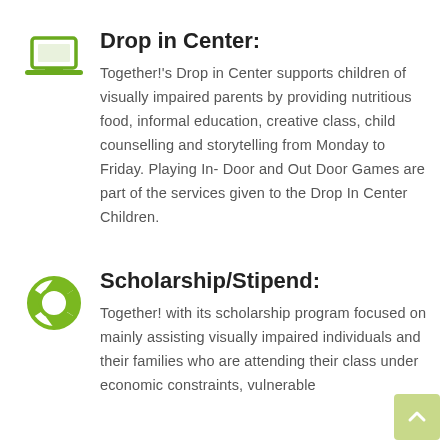Drop in Center:
Together!'s Drop in Center supports children of visually impaired parents by providing nutritious food, informal education, creative class, child counselling and storytelling from Monday to Friday. Playing In- Door and Out Door Games are part of the services given to the Drop In Center Children.
Scholarship/Stipend:
Together! with its scholarship program focused on mainly assisting visually impaired individuals and their families who are attending their class under economic constraints, vulnerable